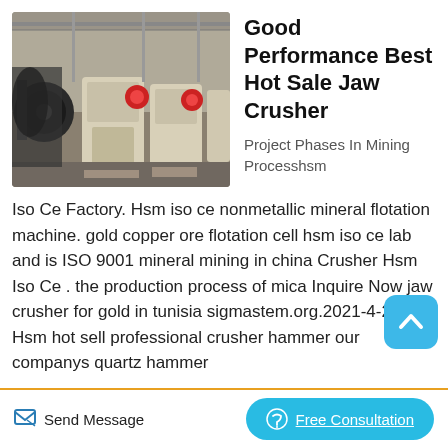[Figure (photo): Industrial factory floor with large jaw crusher machines and heavy equipment, yellow and grey machinery in a warehouse setting]
Good Performance Best Hot Sale Jaw Crusher
Project Phases In Mining Processhsm
Iso Ce Factory. Hsm iso ce nonmetallic mineral flotation machine. gold copper ore flotation cell hsm iso ce lab and is ISO 9001 mineral mining in china Crusher Hsm Iso Ce . the production process of mica Inquire Now jaw crusher for gold in tunisia sigmastem.org.2021-4-22 Hsm hot sell professional crusher hammer our companys quartz hammer
Send Message
Free Consultation